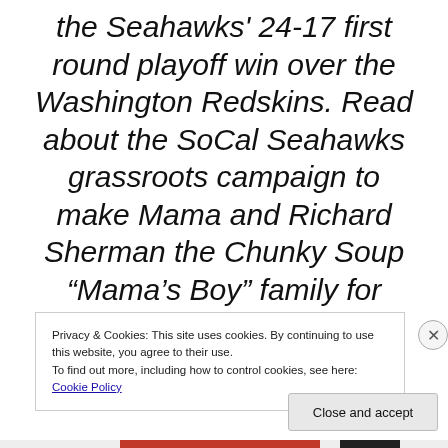the Seahawks' 24-17 first round playoff win over the Washington Redskins. Read about the SoCal Seahawks grassroots campaign to make Mama and Richard Sherman the Chunky Soup "Mama's Boy" family for 2014"
Privacy & Cookies: This site uses cookies. By continuing to use this website, you agree to their use.
To find out more, including how to control cookies, see here: Cookie Policy
Close and accept